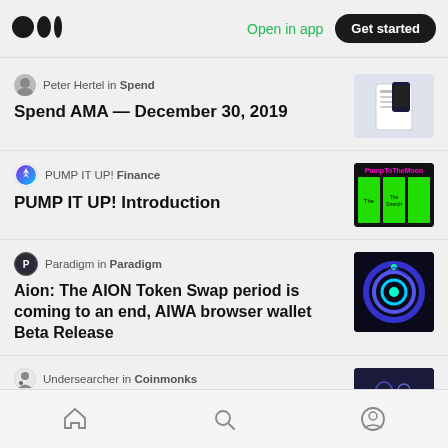Open in app | Get started
Peter Hertel in Spend
Spend AMA — December 30, 2019
PUMP IT UP! Finance
PUMP IT UP! Introduction
Paradigm in Paradigm
Aion: The AION Token Swap period is coming to an end, AIWA browser wallet Beta Release
Undersearcher in Coinmonks
Home | Search | Profile